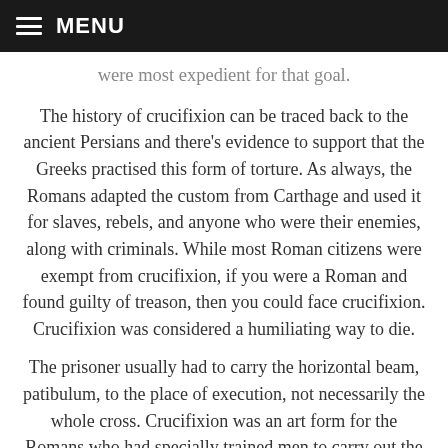MENU
were most expedient for that goal.
The history of crucifixion can be traced back to the ancient Persians and there's evidence to support that the Greeks practised this form of torture. As always, the Romans adapted the custom from Carthage and used it for slaves, rebels, and anyone who were their enemies, along with criminals. While most Roman citizens were exempt from crucifixion, if you were a Roman and found guilty of treason, then you could face crucifixion. Crucifixion was considered a humiliating way to die.
The prisoner usually had to carry the horizontal beam, patibulum, to the place of execution, not necessarily the whole cross. Crucifixion was an art form for the Romans who had specially trained men to carry out the sentence, there would usually be a